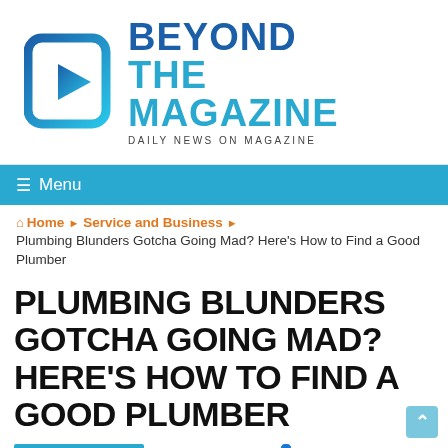[Figure (logo): Beyond The Magazine logo with blue B-shaped icon and text 'BEYOND THE MAGAZINE - DAILY NEWS ON MAGAZINE']
≡ Menu
Home ▶ Service and Business ▶ Plumbing Blunders Gotcha Going Mad? Here's How to Find a Good Plumber
PLUMBING BLUNDERS GOTCHA GOING MAD? HERE'S HOW TO FIND A GOOD PLUMBER
Service and Business  © November 15, 2020  0